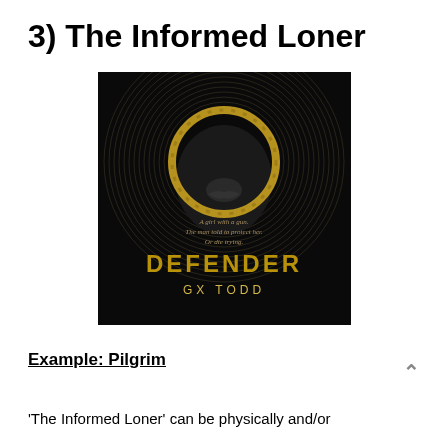3) The Informed Loner
[Figure (photo): Book cover of 'Defender' by GX Todd. Dark background with a golden circle/ring overlaid on a woman's lower face. Text on cover reads: 'A girl with a gun. The man told to protect her. Or die trying.' Title 'DEFENDER' in large gold letters, author 'GX TODD' below.]
Example: Pilgrim
'The Informed Loner' can be physically and/or